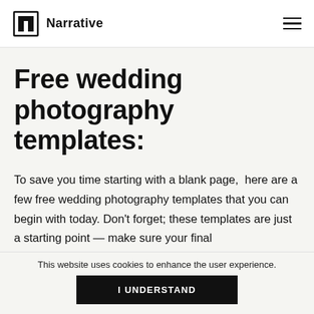Narrative
Free wedding photography templates:
To save you time starting with a blank page, here are a few free wedding photography templates that you can begin with today. Don't forget; these templates are just a starting point — make sure your final
This website uses cookies to enhance the user experience.
I UNDERSTAND